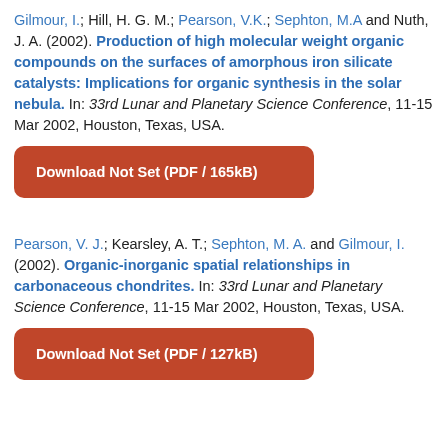Gilmour, I.; Hill, H. G. M.; Pearson, V.K.; Sephton, M.A and Nuth, J. A. (2002). Production of high molecular weight organic compounds on the surfaces of amorphous iron silicate catalysts: Implications for organic synthesis in the solar nebula. In: 33rd Lunar and Planetary Science Conference, 11-15 Mar 2002, Houston, Texas, USA.
Download Not Set (PDF / 165kB)
Pearson, V. J.; Kearsley, A. T.; Sephton, M. A. and Gilmour, I. (2002). Organic-inorganic spatial relationships in carbonaceous chondrites. In: 33rd Lunar and Planetary Science Conference, 11-15 Mar 2002, Houston, Texas, USA.
Download Not Set (PDF / 127kB)